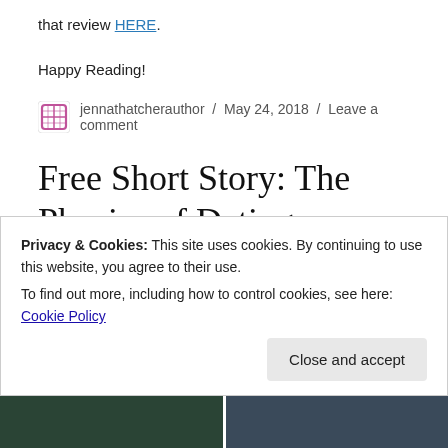that review HERE.
Happy Reading!
jennathatcherauthor / May 24, 2018 / Leave a comment
Free Short Story: The Physics of Dating
There's a new short story available for download
Privacy & Cookies: This site uses cookies. By continuing to use this website, you agree to their use.
To find out more, including how to control cookies, see here: Cookie Policy
Close and accept